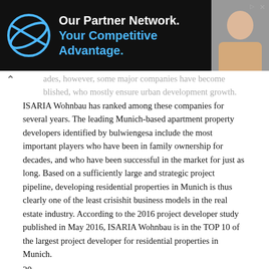[Figure (other): Advertisement banner with dark background showing 'Our Partner Network. Your Competitive Advantage.' with a logo and woman's photo]
ades, however, some major companies have become blished, who mostly ensure urban development growth. ISARIA Wohnbau has ranked among these companies for several years. The leading Munich-based apartment property developers identified by bulwiengesa include the most important players who have been in family ownership for decades, and who have been successful in the market for just as long. Based on a sufficiently large and strategic project pipeline, developing residential properties in Munich is thus clearly one of the least crisishit business models in the real estate industry. According to the 2016 project developer study published in May 2016, ISARIA Wohnbau is in the TOP 10 of the largest project developer for residential properties in Munich.
20
ISARIA Wohnbau AG  Interim Report as of June 30, 2016
2. Financial position and results of operations During the first six months of 2016 individual sales of € 9.1 million (prior year